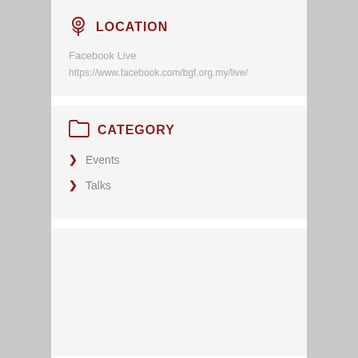LOCATION
Facebook Live
https://www.facebook.com/bgf.org.my/live/
CATEGORY
Events
Talks